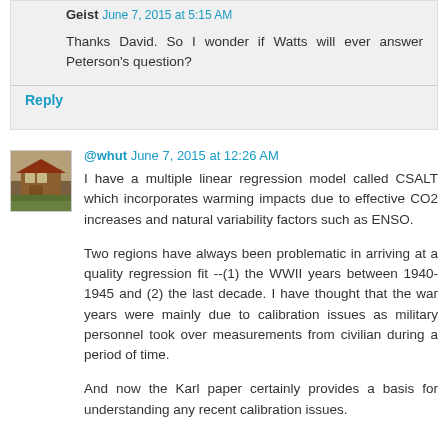Geist June 7, 2015 at 5:15 AM
Thanks David. So I wonder if Watts will ever answer Peterson's question?
Reply
@whut June 7, 2015 at 12:26 AM
I have a multiple linear regression model called CSALT which incorporates warming impacts due to effective CO2 increases and natural variability factors such as ENSO.
Two regions have always been problematic in arriving at a quality regression fit --(1) the WWII years between 1940-1945 and (2) the last decade. I have thought that the war years were mainly due to calibration issues as military personnel took over measurements from civilian during a period of time.
And now the Karl paper certainly provides a basis for understanding any recent calibration issues.